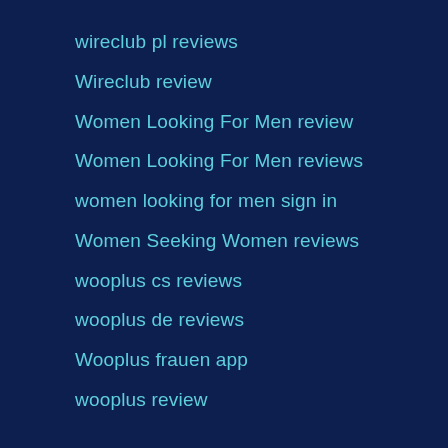wireclub pl reviews
Wireclub review
Women Looking For Men review
Women Looking For Men reviews
women looking for men sign in
Women Seeking Women reviews
wooplus cs reviews
wooplus de reviews
Wooplus frauen app
wooplus review